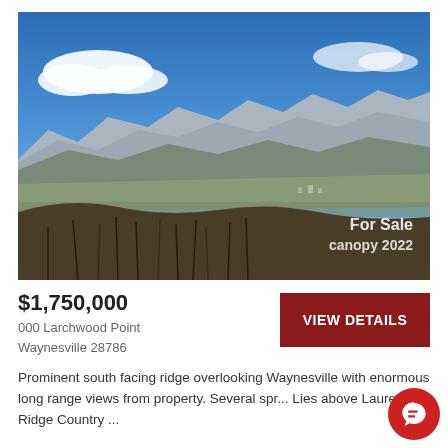[Figure (photo): Panoramic mountain landscape photo showing a south-facing ridge overlooking Waynesville, NC with blue sky, white clouds, rolling mountains in the distance, valley below with town visible, and bare winter trees in the foreground. Watermark reads 'For Sale canopy 2022' in bottom right.]
$1,750,000
000 Larchwood Point
Waynesville 28786
VIEW DETAILS
Prominent south facing ridge overlooking Waynesville with enormous long range views from property. Several spr... Lies above Laurel Ridge Country ...